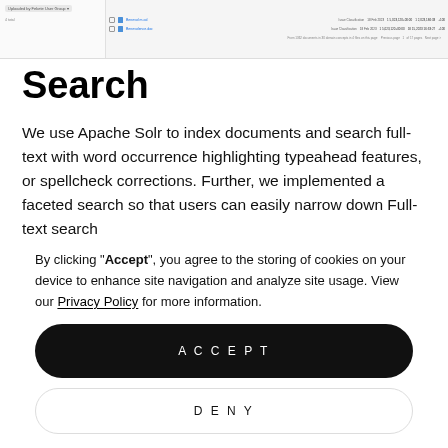[Figure (screenshot): Screenshot of a document management interface showing a file list with document names, types, dates, and numbers. Left panel shows filter/upload options.]
Search
We use Apache Solr to index documents and search full-text with word occurrence highlighting typeahead features, or spellcheck corrections. Further, we implemented a faceted search so that users can easily narrow down Full-text search
By clicking "Accept", you agree to the storing of cookies on your device to enhance site navigation and analyze site usage. View our Privacy Policy for more information.
ACCEPT
DENY